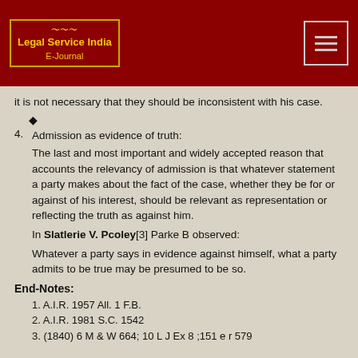[Figure (logo): Legal Service India E-Journal logo in gold on dark red background with ornamental border]
it is not necessary that they should be inconsistent with his case.
◆
4. Admission as evidence of truth:
The last and most important and widely accepted reason that accounts the relevancy of admission is that whatever statement a party makes about the fact of the case, whether they be for or against of his interest, should be relevant as representation or reflecting the truth as against him.
In Slatlerie V. Pcoley[3] Parke B observed:
Whatever a party says in evidence against himself, what a party admits to be true may be presumed to be so.
End-Notes:
1. A.I.R. 1957 All. 1 F.B.
2. A.I.R. 1981 S.C. 1542
3. (1840) 6 M & W 664; 10 L J Ex 8 ;151 e r 579